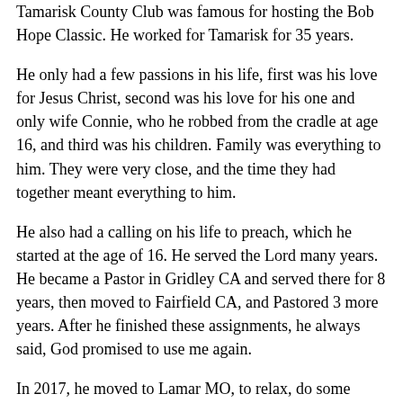Tamarisk County Club was famous for hosting the Bob Hope Classic. He worked for Tamarisk for 35 years.
He only had a few passions in his life, first was his love for Jesus Christ, second was his love for his one and only wife Connie, who he robbed from the cradle at age 16, and third was his children. Family was everything to him. They were very close, and the time they had together meant everything to him.
He also had a calling on his life to preach, which he started at the age of 16. He served the Lord many years. He became a Pastor in Gridley CA and served there for 8 years, then moved to Fairfield CA, and Pastored 3 more years. After he finished these assignments, he always said, God promised to use me again.
In 2017, he moved to Lamar MO, to relax, do some frogging, and be near his kids. But the Lord found him there, and he was asked to step up and be the associate minister for Pastor Mark Cummins at Living Word Church, where he became revered by the people.
He was licensed and ordained until his death, and was in good standing with MBM. He had aclose relationship with Pastor, and they became great friends. And they enjoyed going out every week for breakfast.
Visitors we known for his humorous personality. He always had a